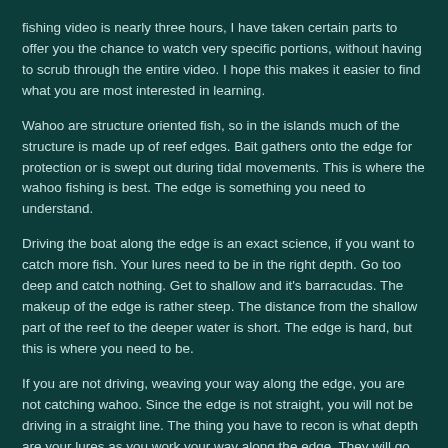fishing video is nearly three hours, I have taken certain parts to offer you the chance to watch very specific portions, without having to scrub through the entire video. I hope this makes it easier to find what you are most interested in learning.
Wahoo are structure oriented fish, so in the islands much of the structure is made up of reef edges. Bait gathers onto the edge for protection or is swept out during tidal movements. This is where the wahoo fishing is best. The edge is something you need to understand.
Driving the boat along the edge is an exact science, if you want to catch more fish. Your lures need to be in the right depth. Go too deep and catch nothing. Get to shallow and it's barracudas. The makeup of the edge is rather steep. The distance from the shallow part of the reef to the deeper water is short. The edge is hard, but this is where you need to be.
If you are not driving, weaving your way along the edge, you are not catching wahoo. Since the edge is not straight, you will not be driving in a straight line. The thing you have to recon is what depth are your lures as you work your way along the edge. They will go from deep to shallow and back again. It is not the depth under you boat that you have to factor in. It is where your lures are.